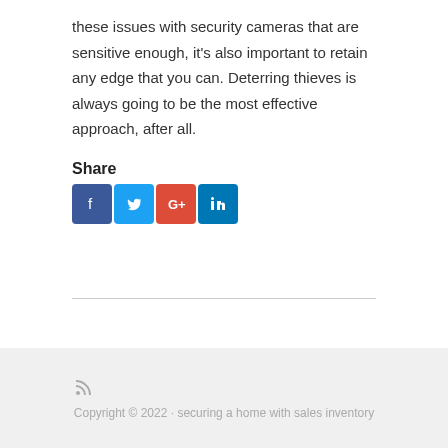these issues with security cameras that are sensitive enough, it's also important to retain any edge that you can. Deterring thieves is always going to be the most effective approach, after all.
Share
[Figure (other): Social share buttons: Facebook, Twitter, Google+, LinkedIn]
Copyright © 2022 · securing a home with sales inventory